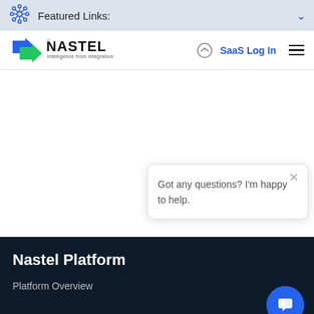Featured Links:
[Figure (logo): Nastel logo with arrows and text 'NASTEL Intelligence from integration']
SaaS Log In
Got any questions? I'm happy to help.
Nastel Platform
Platform Overview